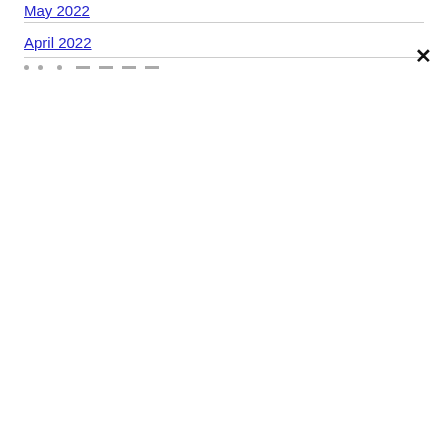May 2022
April 2022
× (close button)
· · · - - - -